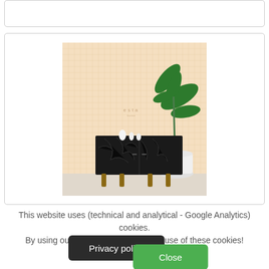[Figure (photo): Interior scene showing a black marble sideboard cabinet with wooden legs, a large tropical plant in a white pot, and small white decorative objects on top, against a peach/cream grid-pattern wallpaper background. Small 'esta' brand logo visible on the wallpaper.]
This website uses (technical and analytical - Google Analytics) cookies. By using our website, you accept the use of these cookies!
Privacy policy
Close